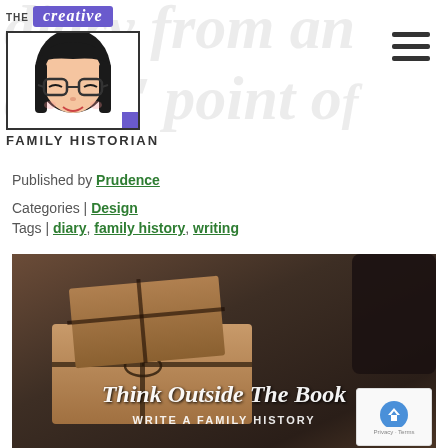The Creative Family Historian
Published by Prudence
Categories | Design
Tags | diary, family history, writing
[Figure (photo): Feature image showing wrapped packages/books with rope, dark moody background, with text overlay 'Think Outside The Book' in script and 'WRITE A FAMILY HISTORY' in caps below]